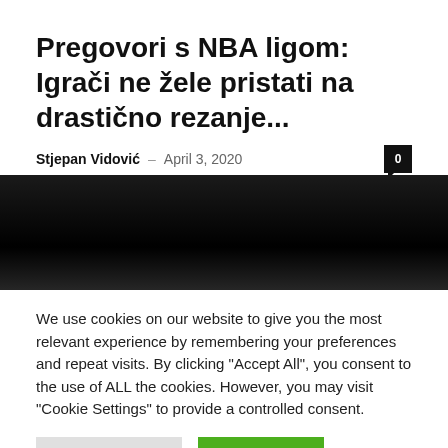Pregovori s NBA ligom: Igrači ne žele pristati na drastično rezanje...
Stjepan Vidović – April 3, 2020   0
[Figure (photo): Dark/black banner image area]
We use cookies on our website to give you the most relevant experience by remembering your preferences and repeat visits. By clicking "Accept All", you consent to the use of ALL the cookies. However, you may visit "Cookie Settings" to provide a controlled consent.